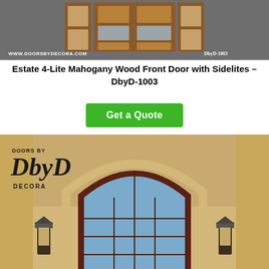[Figure (photo): Product render of an Estate 4-Lite Mahogany Wood Front Door with Sidelites on a gray background. Watermark text: www.doorsbydecora.com and DbyD-1003]
Estate 4-Lite Mahogany Wood Front Door with Sidelites – DbyD-1003
Get a Quote
[Figure (photo): Photo of a large arched front door installation with arched transom window, warm yellow stucco exterior, outdoor lantern sconces on either side, and Doors by DbyD Decora logo watermark in the upper left corner]